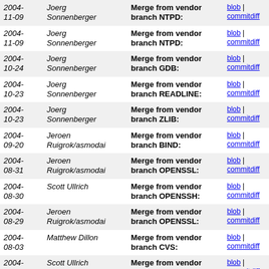| Date | Author | Message | Links |
| --- | --- | --- | --- |
| 2004-
11-09 | Joerg
Sonnenberger | Merge from vendor branch NTPD: | blob | commitdiff |
| 2004-
11-09 | Joerg
Sonnenberger | Merge from vendor branch NTPD: | blob | commitdiff |
| 2004-
10-24 | Joerg
Sonnenberger | Merge from vendor branch GDB: | blob | commitdiff |
| 2004-
10-23 | Joerg
Sonnenberger | Merge from vendor branch READLINE: | blob | commitdiff |
| 2004-
10-23 | Joerg
Sonnenberger | Merge from vendor branch ZLIB: | blob | commitdiff |
| 2004-
09-20 | Jeroen
Ruigrok/asmodai | Merge from vendor branch BIND: | blob | commitdiff |
| 2004-
08-31 | Jeroen
Ruigrok/asmodai | Merge from vendor branch OPENSSL: | blob | commitdiff |
| 2004-
08-30 | Scott Ullrich | Merge from vendor branch OPENSSH: | blob | commitdiff |
| 2004-
08-29 | Jeroen
Ruigrok/asmodai | Merge from vendor branch OPENSSL: | blob | commitdiff |
| 2004-
08-03 | Matthew Dillon | Merge from vendor branch CVS: | blob | commitdiff |
| 2004-
07-31 | Scott Ullrich | Merge from vendor branch OPENSSH: | blob | commitdiff |
| 2004-
07-31 | Scott Ullrich | Merge from vendor branch OPENSSH: | blob | commitdiff |
| 2004-
07-31 | Scott Ullrich | Merge from vendor branch OPENSSH: | blob | commitdiff |
| 2004- | Joerg | Merge from vendor | blob | commitdiff |